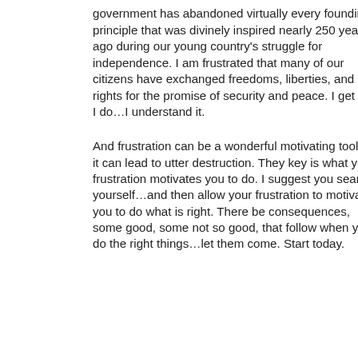government has abandoned virtually every founding principle that was divinely inspired nearly 250 years ago during our young country's struggle for independence. I am frustrated that many of our citizens have exchanged freedoms, liberties, and rights for the promise of security and peace. I get it…I do…I understand it.
And frustration can be a wonderful motivating tool or it can lead to utter destruction. They key is what your frustration motivates you to do. I suggest you search yourself…and then allow your frustration to motivate you to do what is right. There be consequences, some good, some not so good, that follow when you do the right things…let them come. Start today.